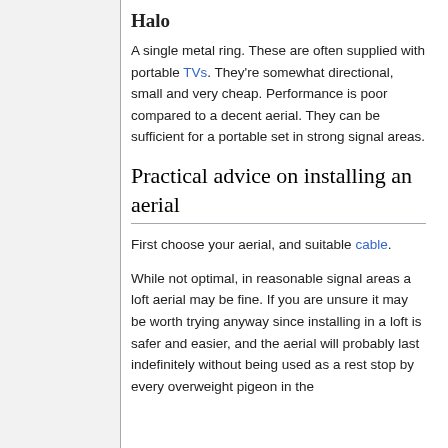Halo
A single metal ring. These are often supplied with portable TVs. They're somewhat directional, small and very cheap. Performance is poor compared to a decent aerial. They can be sufficient for a portable set in strong signal areas.
Practical advice on installing an aerial
First choose your aerial, and suitable cable.
While not optimal, in reasonable signal areas a loft aerial may be fine. If you are unsure it may be worth trying anyway since installing in a loft is safer and easier, and the aerial will probably last indefinitely without being used as a rest stop by every overweight pigeon in the